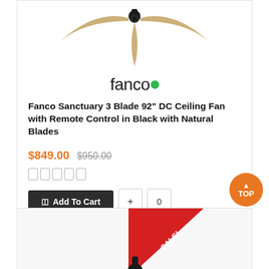[Figure (photo): Ceiling fan with three natural wood-colored blades and black motor housing, viewed from below at an angle]
[Figure (logo): Fanco brand logo — word 'fanco' in dark text with a green circle replacing the last 'o']
Fanco Sanctuary 3 Blade 92" DC Ceiling Fan with Remote Control in Black with Natural Blades
$849.00 $950.00
[Figure (other): Five empty star/rating placeholder boxes in a row]
Add To Cart
[Figure (photo): Second product card beginning with a red SALE! diagonal banner and partial ceiling fan image]